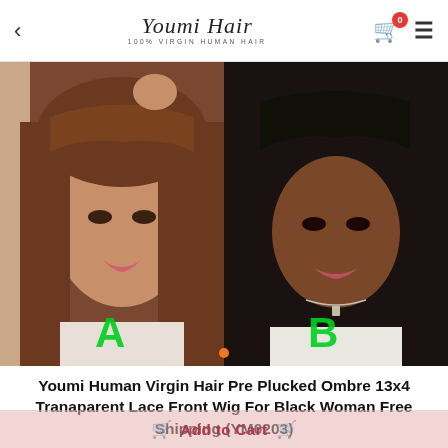Youmi Hair — 100% Virgin Human Hair navigation bar
[Figure (photo): Two women wearing Youmi Hair wigs with bangs side by side. Left woman (labeled A in green text) wears an ombre brown wig with bangs. Right woman (labeled B in green text) wears a jet-black wig with bangs.]
Youmi Human Virgin Hair Pre Plucked Ombre 13x4 Tranaparent Lace Front Wig For Black Woman Free Shipping (YM0203)